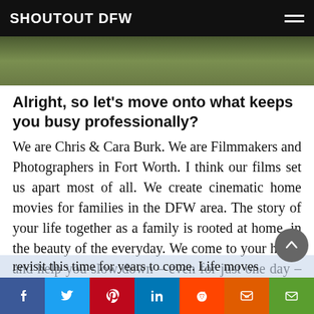SHOUTOUT DFW
[Figure (photo): Partial nature/outdoor photo strip at top of article]
Alright, so let’s move onto what keeps you busy professionally?
We are Chris & Cara Burk. We are Filmmakers and Photographers in Fort Worth. I think our films set us apart most of all. We create cinematic home movies for families in the DFW area. The story of your life together as a family is rooted at home, in the beauty of the everyday. We come to your home and help you slow down – even for just one day – so that you can hear their tiny voices and see their sweet faces and revisit this time for years to come. Life moves so with these
Facebook Twitter Pinterest LinkedIn Reddit Mix Email